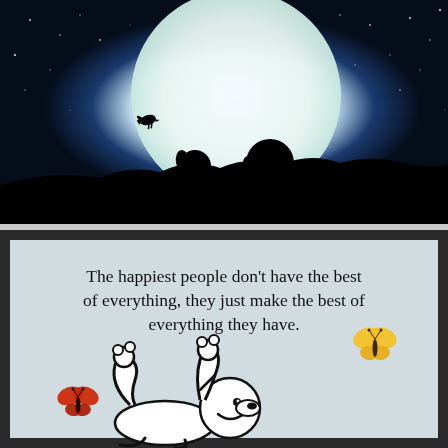[Figure (illustration): Peanuts-style illustration: silhouettes of Charlie Brown and Snoopy sitting together on a dark grassy hill at night, gazing at a large bright moon. Woodstock bird flies to the left. Deep blue starry night sky surrounds the large glowing white moon.]
[Figure (illustration): Cartoon illustration with black border frame on a pale blue-grey background. Text reads: 'The happiest people don't have the best of everything, they just make the best of everything they have.' Cartoon characters (Snoopy-style dog lying on its back, another character) at bottom with a yellow butterfly upper right and a red butterfly lower left.]